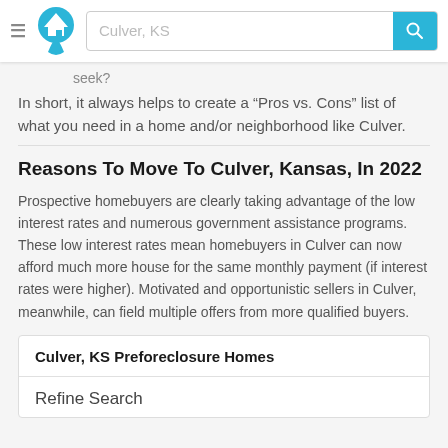Culver, KS
seek?
In short, it always helps to create a “Pros vs. Cons” list of what you need in a home and/or neighborhood like Culver.
Reasons To Move To Culver, Kansas, In 2022
Prospective homebuyers are clearly taking advantage of the low interest rates and numerous government assistance programs. These low interest rates mean homebuyers in Culver can now afford much more house for the same monthly payment (if interest rates were higher). Motivated and opportunistic sellers in Culver, meanwhile, can field multiple offers from more qualified buyers.
Culver, KS Preforeclosure Homes
Refine Search